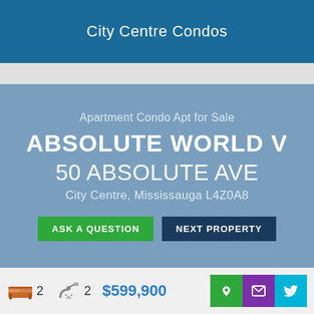City Centre Condos
Apartment Condo Apt for Sale
ABSOLUTE WORLD V
50 ABSOLUTE AVE
City Centre, Mississauga L4Z0A8
ASK A QUESTION   NEXT PROPERTY
2  2  $599,900